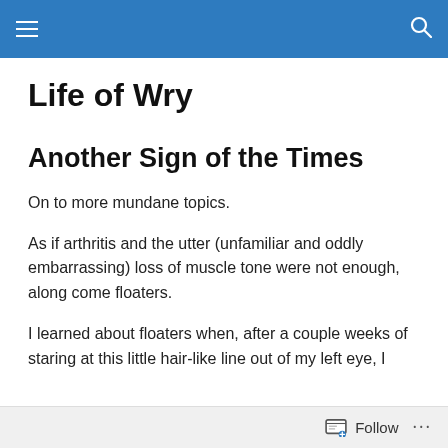Life of Wry [navigation header]
Life of Wry
Another Sign of the Times
On to more mundane topics.
As if arthritis and the utter (unfamiliar and oddly embarrassing) loss of muscle tone were not enough, along come floaters.
I learned about floaters when, after a couple weeks of staring at this little hair-like line out of my left eye, I
Follow ...